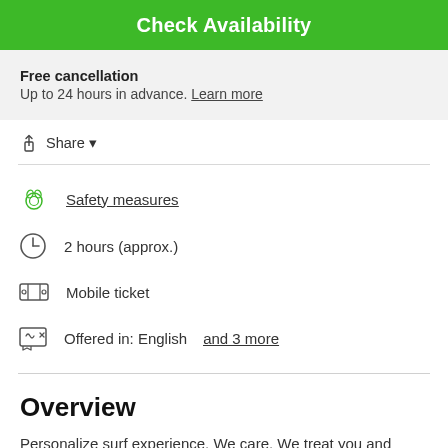Check Availability
Free cancellation
Up to 24 hours in advance. Learn more
Share
Safety measures
2 hours (approx.)
Mobile ticket
Offered in: English and 3 more
Overview
Personalize surf experience. We care. We treat you and